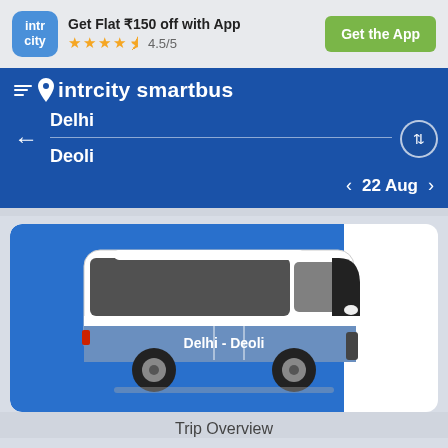Get Flat ₹150 off with App
★★★★½ 4.5/5
Get the App
intrcity smartbus
Delhi
Deoli
< 22 Aug >
[Figure (illustration): Illustration of a blue and white intercity bus with 'Delhi - Deoli' written on its side, shown against a blue and white background inside a rounded card.]
Trip Overview